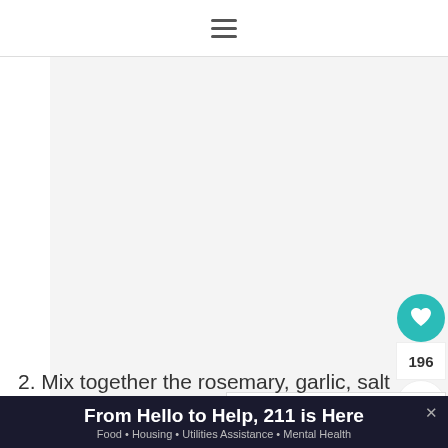≡
[Figure (photo): Large food/recipe image area (light gray placeholder)]
[Figure (infographic): Floating action buttons: heart icon (teal), count 196, share icon]
WHAT'S NEXT → Sous Vide Pork Loin
2. Mix together the rosemary, garlic, salt
From Hello to Help, 211 is Here
Food • Housing • Utilities Assistance • Mental Health